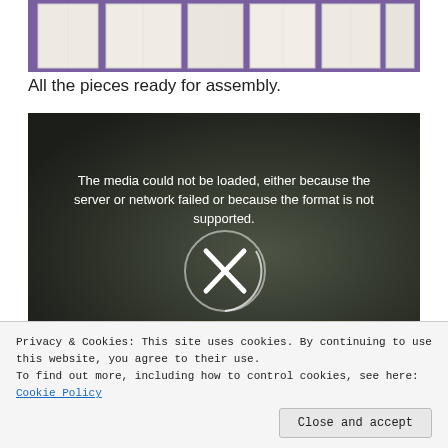[Figure (photo): White fabric pieces laid out on a purple cutting mat, ready for assembly]
All the pieces ready for assembly.
[Figure (screenshot): Video player showing error message: The media could not be loaded, either because the server or network failed or because the format is not supported. An X icon in a circle is shown.]
Privacy & Cookies: This site uses cookies. By continuing to use this website, you agree to their use.
To find out more, including how to control cookies, see here: Cookie Policy
help to sharpen your pins if you stick them in there